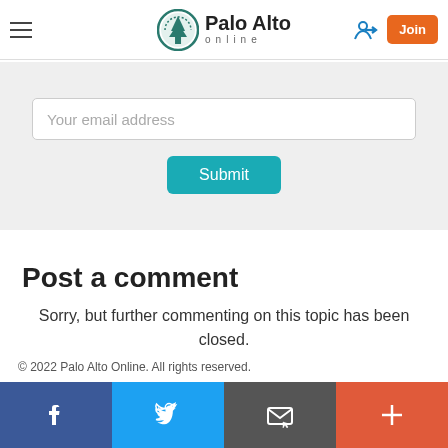Palo Alto online
Your email address
Submit
Post a comment
Sorry, but further commenting on this topic has been closed.
© 2022 Palo Alto Online. All rights reserved.